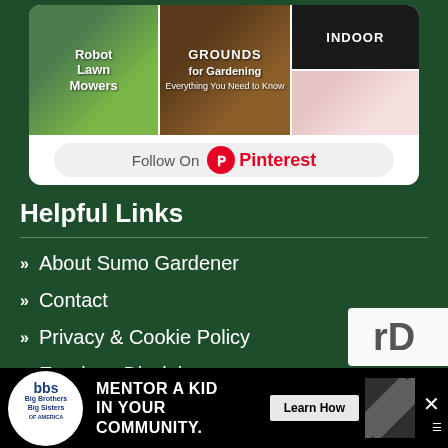[Figure (screenshot): Pinterest follow widget showing book covers for Robot Lawn Mowers, Grounds for Gardening, Indoor gardening, and floral imagery, with a 'Follow On Pinterest' button]
Helpful Links
» About Sumo Gardener
» Contact
» Privacy & Cookie Policy
» Earnings Disclaimer
[Figure (screenshot): Advertisement banner: Big Brothers Big Sisters logo, 'MENTOR A KID IN YOUR COMMUNITY.' with Learn How button, diagonal stripe pattern, close X button]
[Figure (screenshot): Partial reCAPTCHA badge visible at bottom right]